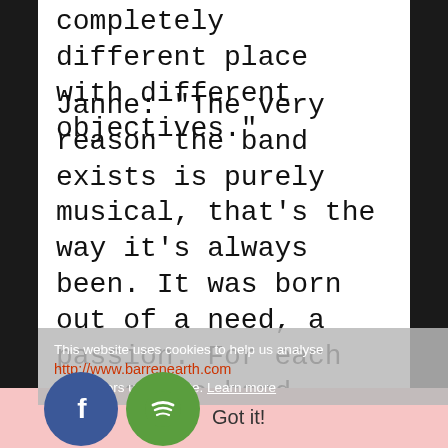completely different place with different objectives."
Janne: "The very reason the band exists is purely musical, that's the way it's always been. It was born out of a need, a passion. For each of us the band continues to be a product of love for music and the continuing search for that said release that comes from creating something new and beautiful."
This website uses cookies to help us analyse how visitors use this site. Learn more
http://www.barrenearth.com
Got it!